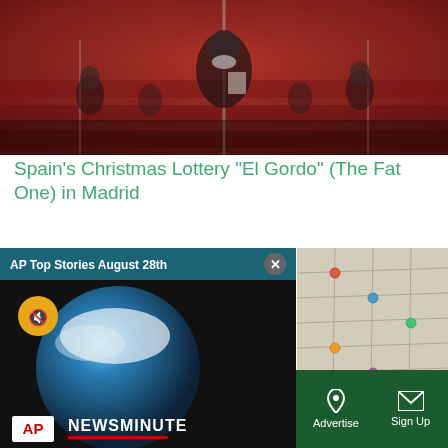[Figure (photo): Theater audience wearing masks seated in red-velvet seats, overhead view, reddish tones]
Spain’s Christmas Lottery “El Gordo” (The Fat One) in Madrid
[Figure (screenshot): AP Top Stories August 28th video overlay panel with NEWSMINUTE graphic on dark background with Earth globe]
[Figure (photo): Lottery tickets or newspaper sheets with colored pins, close-up overhead view]
Sections | NY Edition | Philly | Games | Advertise | Sign Up